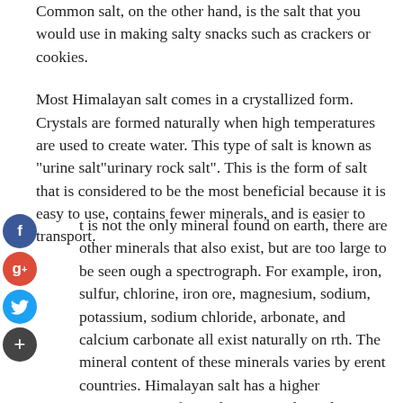Common salt, on the other hand, is the salt that you would use in making salty snacks such as crackers or cookies.
Most Himalayan salt comes in a crystallized form. Crystals are formed naturally when high temperatures are used to create water. This type of salt is known as "urine salt"urinary rock salt". This is the form of salt that is considered to be the most beneficial because it is easy to use, contains fewer minerals, and is easier to transport.
t is not the only mineral found on earth, there are other minerals that also exist, but are too large to be seen ough a spectrograph. For example, iron, sulfur, chlorine, iron ore, magnesium, sodium, potassium, sodium chloride, arbonate, and calcium carbonate all exist naturally on rth. The mineral content of these minerals varies by erent countries. Himalayan salt has a higher concentration of iron than most other salt varieties and is therefore considered to be a better choice for health and